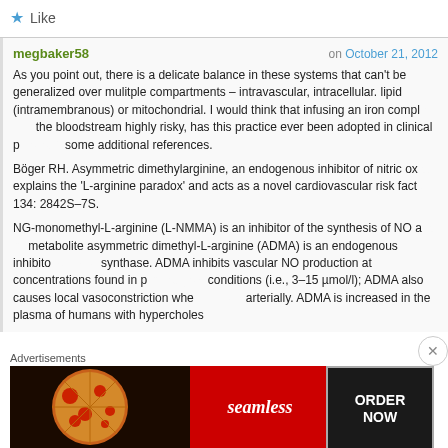Like
megbaker58 on October 21, 2012
As you point out, there is a delicate balance in these systems that can't be generalized over mulitple compartments – intravascular, intracellular. lipid (intramembranous) or mitochondrial. I would think that infusing an iron complex into the bloodstream highly risky, has this practice ever been adopted in clinical practice? some additional references.
Böger RH. Asymmetric dimethylarginine, an endogenous inhibitor of nitric oxide explains the 'L-arginine paradox' and acts as a novel cardiovascular risk factor. 134: 2842S–7S.
NG-monomethyl-L-arginine (L-NMMA) is an inhibitor of the synthesis of NO and its metabolite asymmetric dimethyl-L-arginine (ADMA) is an endogenous inhibitor of NOS synthase. ADMA inhibits vascular NO production at concentrations found in pathological conditions (i.e., 3–15 µmol/l); ADMA also causes local vasoconstriction when infused arterially. ADMA is increased in the plasma of humans with hypercholest...
[Figure (other): Seamless food delivery advertisement banner with pizza image on left, red Seamless logo in center, and ORDER NOW button on dark background on right]